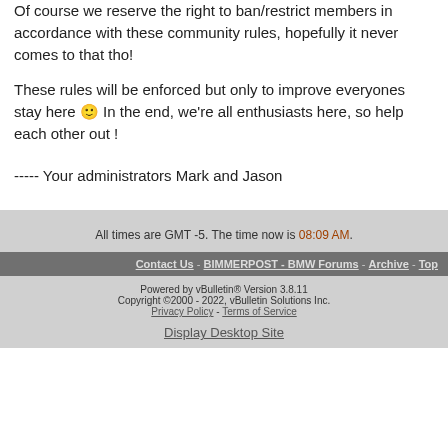Of course we reserve the right to ban/restrict members in accordance with these community rules, hopefully it never comes to that tho!
These rules will be enforced but only to improve everyones stay here 🙂 In the end, we're all enthusiasts here, so help each other out !
----- Your administrators Mark and Jason
All times are GMT -5. The time now is 08:09 AM.
Contact Us - BIMMERPOST - BMW Forums - Archive - Top
Powered by vBulletin® Version 3.8.11
Copyright ©2000 - 2022, vBulletin Solutions Inc.
Privacy Policy - Terms of Service
Display Desktop Site